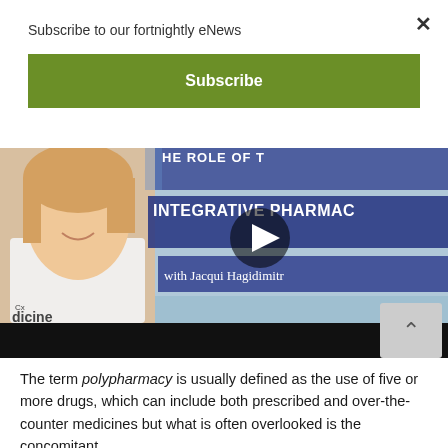Subscribe to our fortnightly eNews
Subscribe
[Figure (screenshot): Video thumbnail for 'The Role of Integrative Pharmacy with Jacqui Hagidimitr...' showing a smiling female pharmacist on the left and text overlays on a blue/purple background, with a play button in the center and a CxMedicine logo in the lower left. The bottom portion is a black bar with a grey scroll-up arrow button.]
The term polypharmacy is usually defined as the use of five or more drugs, which can include both prescribed and over-the-counter medicines but what is often overlooked is the concomitant